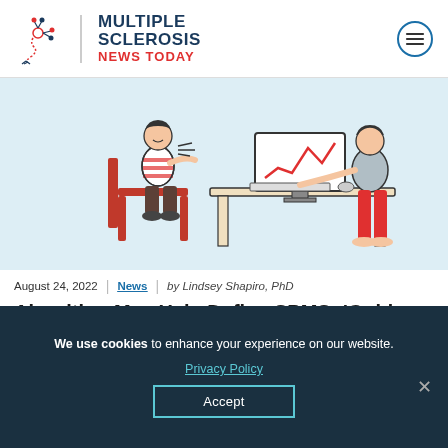MULTIPLE SCLEROSIS NEWS TODAY
[Figure (illustration): Cartoon illustration of a patient (wearing red and white striped shirt) sitting in a red chair, gesturing while talking to a doctor sitting at a desk with a computer monitor.]
August 24, 2022 | News | by Lindsey Shapiro, PhD
Algorithm May Help Define SPMS; 'Gold Standard' Still Neurologist
We use cookies to enhance your experience on our website. Privacy Policy Accept